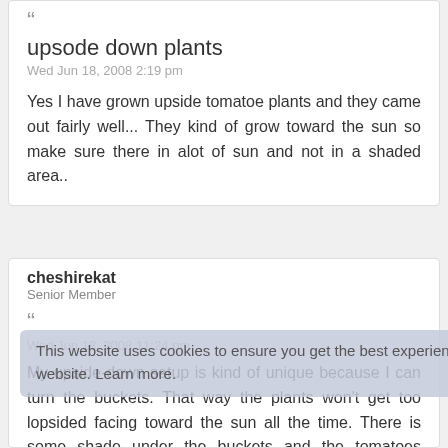“
upsode down plants
Wed Jun 18, 2008 2:19 pm
Yes I have grown upside tomatoe plants and they came out fairly well... They kind of grow toward the sun so make sure there in alot of sun and not in a shaded area..
cheshirekat
Senior Member
“
Wed Jun 18, 2008 11:24 pm
This website uses cookies to ensure you get the best experience on our website. Learn more.
My upside-down setup is kind of unique because I can turn the buckets. That way the plants won't get too lopsided facing toward the sun all the time. There is some shade under the buckets and the tomatoes actually look more healthy with some respite from the